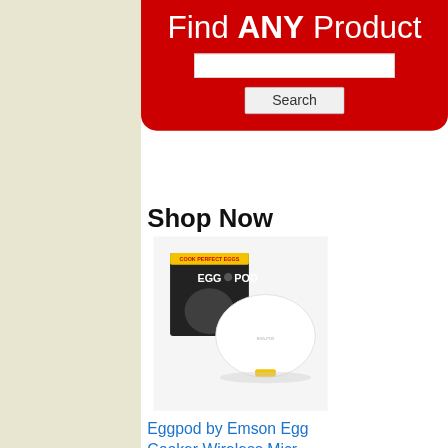Find ANY Product
[Figure (screenshot): Search text input box, empty]
Search
Shop Now
[Figure (photo): Eggpod by Emson egg cooker product image showing white dome-shaped cooker and product box]
Eggpod by Emson Egg Cooker Wireless Micr…
$18.99  $23.95  ✓prime
★★★★☆ (9927)
[Figure (photo): Second product image showing 'As Seen on TV' style packaging with text 'as SEEN on TV']